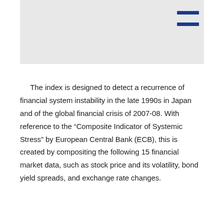[Figure (other): Gray header image/banner area with a hamburger menu icon in the top right corner]
The index is designed to detect a recurrence of financial system instability in the late 1990s in Japan and of the global financial crisis of 2007-08. With reference to the “Composite Indicator of Systemic Stress” by European Central Bank (ECB), this is created by compositing the following 15 financial market data, such as stock price and its volatility, bond yield spreads, and exchange rate changes.